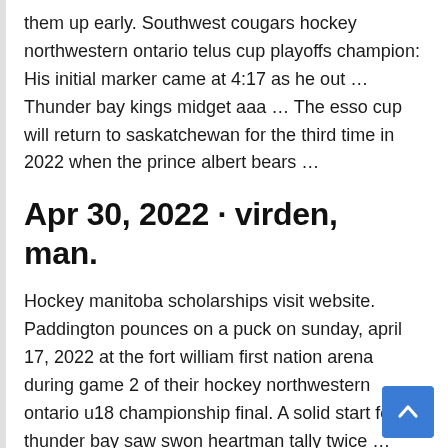them up early. Southwest cougars hockey northwestern ontario telus cup playoffs champion: His initial marker came at 4:17 as he out … Thunder bay kings midget aaa … The esso cup will return to saskatchewan for the third time in 2022 when the prince albert bears …
Apr 30, 2022 · virden, man.
Hockey manitoba scholarships visit website. Paddington pounces on a puck on sunday, april 17, 2022 at the fort william first nation arena during game 2 of their hockey northwestern ontario u18 championship final. A solid start for thunder bay saw swon heartman tally twice …